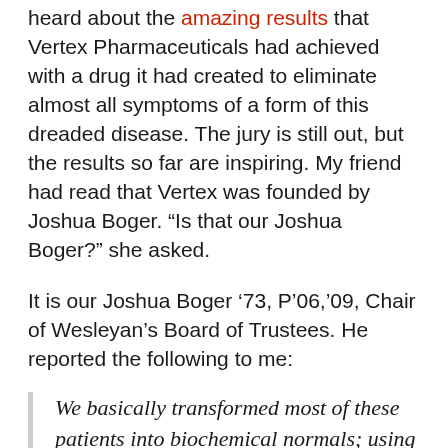heard about the amazing results that Vertex Pharmaceuticals had achieved with a drug it had created to eliminate almost all symptoms of a form of this dreaded disease. The jury is still out, but the results so far are inspiring. My friend had read that Vertex was founded by Joshua Boger. “Is that our Joshua Boger?” she asked.
It is our Joshua Boger ’73, P’06,’09, Chair of Wesleyan’s Board of Trustees. He reported the following to me:
We basically transformed most of these patients into biochemical normals; using biochemistry you